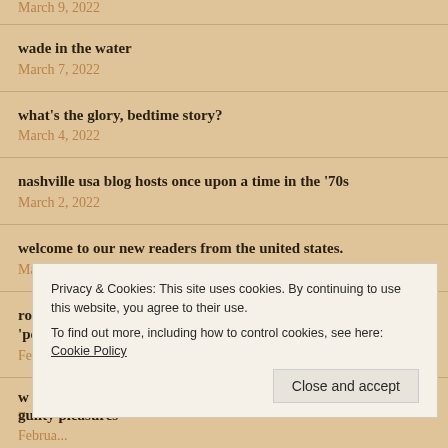March 9, 2022
wade in the water
March 7, 2022
what's the glory, bedtime story?
March 4, 2022
nashville usa blog hosts once upon a time in the '70s
March 2, 2022
welcome to our new readers from the united states.
March 1, 2022
roller skating and music. (A guest post by max gower of the 'powerpop' blog.)
February 28, 2022
Privacy & Cookies: This site uses cookies. By continuing to use this website, you agree to their use.
To find out more, including how to control cookies, see here: Cookie Policy
guilty pleasures
February 28, 2022